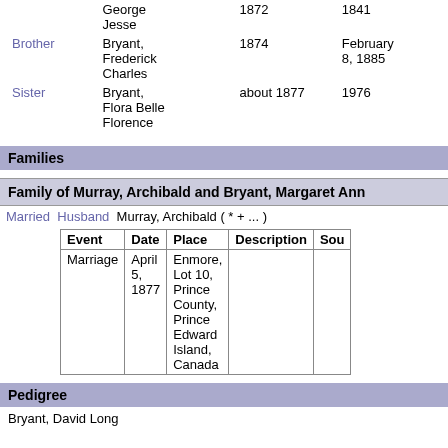| Relationship | Name | Birth | Death |
| --- | --- | --- | --- |
|  | George Jesse | 1872 | 1841 |
| Brother | Bryant, Frederick Charles | 1874 | February 8, 1885 |
| Sister | Bryant, Flora Belle Florence | about 1877 | 1976 |
Families
Family of Murray, Archibald and Bryant, Margaret Ann
Married  Husband  Murray, Archibald ( * + ... )
| Event | Date | Place | Description | Sou |
| --- | --- | --- | --- | --- |
| Marriage | April 5, 1877 | Enmore, Lot 10, Prince County, Prince Edward Island, Canada |  |  |
Pedigree
Bryant, David Long